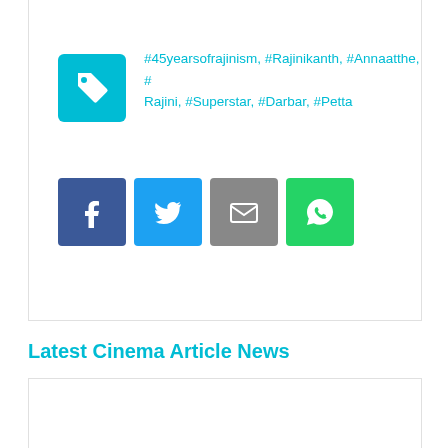#45yearsofrajinism, #Rajinikanth, #Annaatthe, #Rajini, #Superstar, #Darbar, #Petta
[Figure (infographic): Social share icons: Facebook, Twitter, Email, WhatsApp]
Latest Cinema Article News